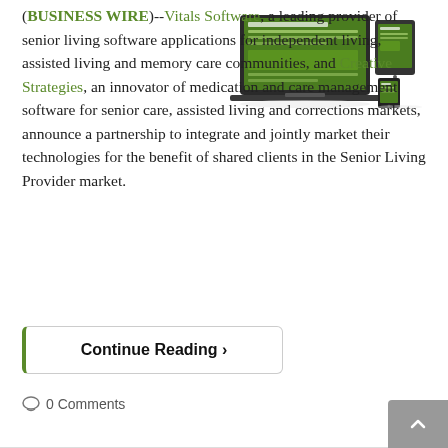[Figure (screenshot): Screenshot of Vitals Software displayed on laptop, tablet, and phone screens showing a green-themed website interface]
(BUSINESS WIRE)--Vitals Software, a leading provider of senior living software applications for independent living, assisted living and memory care communities, and Creative Strategies, an innovator of medication and care management software for senior care, assisted living and corrections markets, announce a partnership to integrate and jointly market their technologies for the benefit of shared clients in the Senior Living Provider market.
Continue Reading >
0 Comments